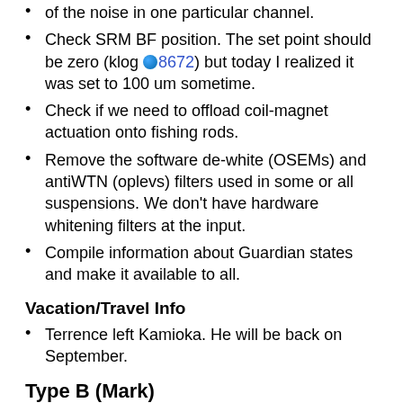of the noise in one particular channel.
Check SRM BF position. The set point should be zero (klog 8672) but today I realized it was set to 100 um sometime.
Check if we need to offload coil-magnet actuation onto fishing rods.
Remove the software de-white (OSEMs) and antiWTN (oplevs) filters used in some or all suspensions. We don't have hardware whitening filters at the input.
Compile information about Guardian states and make it available to all.
Vacation/Travel Info
Terrence left Kamioka. He will be back on September.
Type B (Mark)
Report for the week 7/15 (Written by Fabian)
SR3 IM H2 noise hunting.
SRM oplev condition: when the suspension is in